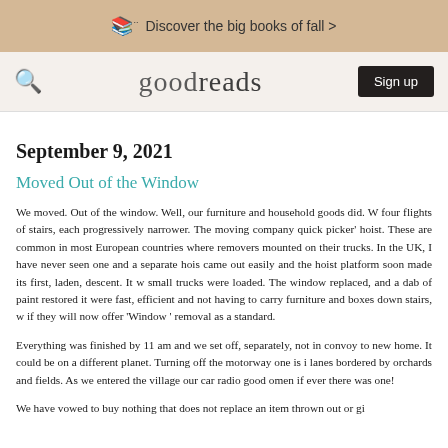Discover the big books of fall >
goodreads  Sign up
September 9, 2021
Moved Out of the Window
We moved. Out of the window. Well, our furniture and household goods did. W four flights of stairs, each progressively narrower. The moving company quick picker' hoist. These are common in most European countries where removers mounted on their trucks. In the UK, I have never seen one and a separate hois came out easily and the hoist platform soon made its first, laden, descent. It w small trucks were loaded. The window replaced, and a dab of paint restored it were fast, efficient and not having to carry furniture and boxes down stairs, w if they will now offer 'Window ' removal as a standard.
Everything was finished by 11 am and we set off, separately, not in convoy to new home. It could be on a different planet. Turning off the motorway one is i lanes bordered by orchards and fields. As we entered the village our car radio good omen if ever there was one!
We have vowed to buy nothing that does not replace an item thrown out or gi